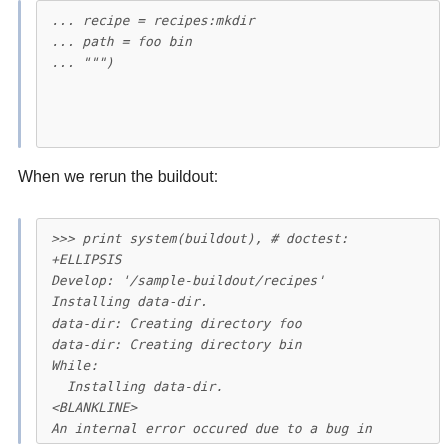... recipe = recipes:mkdir
... path = foo bin
... """)
When we rerun the buildout:
>>> print system(buildout), # doctest: +ELLIPSIS
Develop: '/sample-buildout/recipes'
Installing data-dir.
data-dir: Creating directory foo
data-dir: Creating directory bin
While:
  Installing data-dir.
<BLANKLINE>
An internal error occured due to a bug in either
recipe being used:
Traceback (most recent call last):
...
OSError: [Errno 17] File exists: '/sample-buildo